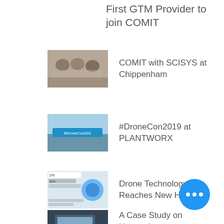First GTM Provider to join COMIT
[Figure (photo): People seated at a meeting/conference table]
COMIT with SCISYS at Chippenham
[Figure (photo): #DroneCon2019 banner/event photo]
#DroneCon2019 at PLANTWORX
[Figure (infographic): Drone technology infographic with percentage statistics]
Drone Technology Reaches New Heights
[Figure (photo): Person using a laptop/computer]
A Case Study on How to Improve Construction